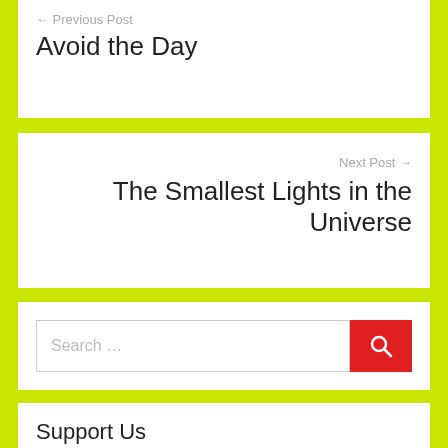← Previous Post
Avoid the Day
Next Post →
The Smallest Lights in the Universe
Search …
Support Us
If you like what I do please support me on Ko-fi. Thanks.